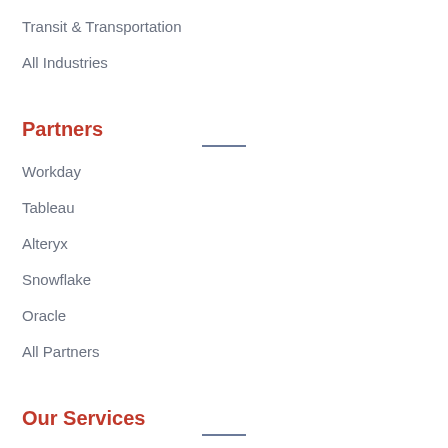Transit & Transportation
All Industries
Partners
Workday
Tableau
Alteryx
Snowflake
Oracle
All Partners
Our Services
Advisory
Change Management